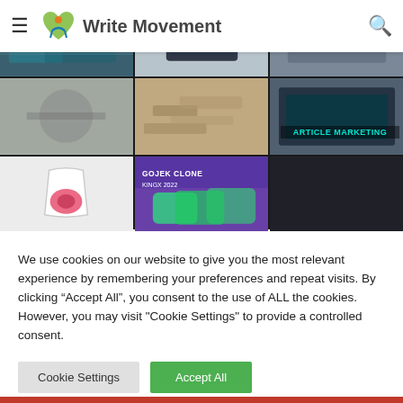[Figure (screenshot): Write Movement website header with logo, hamburger menu, and search icon]
[Figure (photo): Grid of 9 images: industrial/clothing/packaging/marketing topics]
We use cookies on our website to give you the most relevant experience by remembering your preferences and repeat visits. By clicking “Accept All”, you consent to the use of ALL the cookies. However, you may visit "Cookie Settings" to provide a controlled consent.
Cookie Settings
Accept All